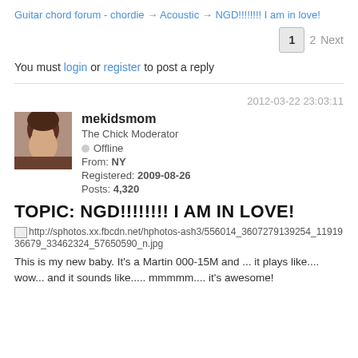Guitar chord forum - chordie → Acoustic → NGD!!!!!!!! I am in love!
You must login or register to post a reply
2012-03-22 23:03:11
mekidsmom
The Chick Moderator
Offline
From: NY
Registered: 2009-08-26
Posts: 4,320
TOPIC: NGD!!!!!!!! I AM IN LOVE!
[Figure (photo): Broken image link to http://sphotos.xx.fbcdn.net/hphotos-ash3/556014_3607279139254_1191936679_33462324_57650590_n.jpg]
This is my new baby.  It's a Martin 000-15M and ... it plays like.... wow... and it sounds like..... mmmmm.... it's awesome!